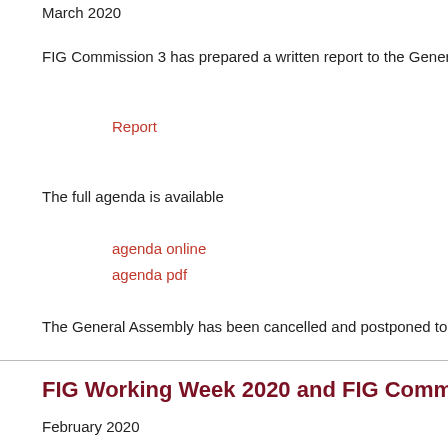March 2020
FIG Commission 3 has prepared a written report to the Genera
Report
The full agenda is available
agenda online
agenda pdf
The General Assembly has been cancelled and postponed to
FIG Working Week 2020 and FIG Commiss
February 2020
The theme Smart Surveyors for Land and Water Managem world where drinking water is a scarce resource, waste water than seen as waste, where the sea needs to be better mapped resources need to be protected against sea-level rise, and wh habitats are threatened.